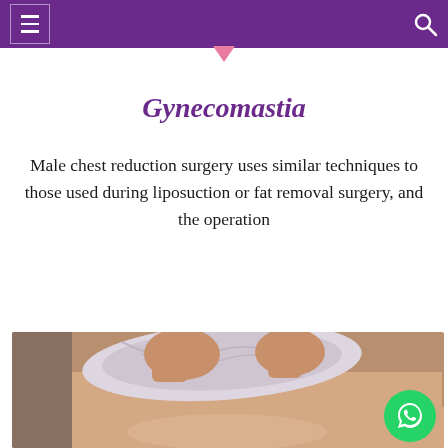Navigation header with menu and search icons
Gynecomastia
Male chest reduction surgery uses similar techniques to those used during liposuction or fat removal surgery, and the operation
[Figure (photo): Medical photo showing hands lifting a shirt to reveal a male chest/torso, with a WhatsApp contact button overlay in the bottom right corner]